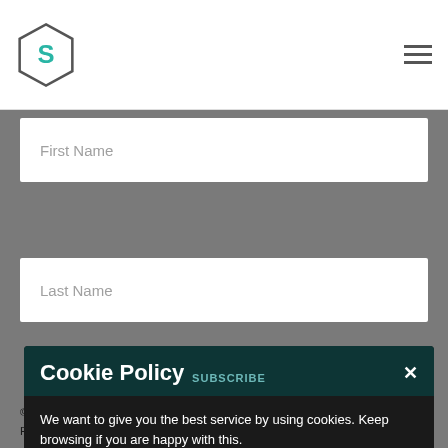[Figure (logo): Hexagonal logo with letter S in teal/green color]
First Name
Last Name
Cookie Policy
SUBSCRIBE
We want to give you the best service by using cookies. Keep browsing if you are happy with this. Cookie Information.
© 2022 Green Retreats Ltd. Company Number 08305447. | Cookie Policy | Privacy Policy | Environmental Policy